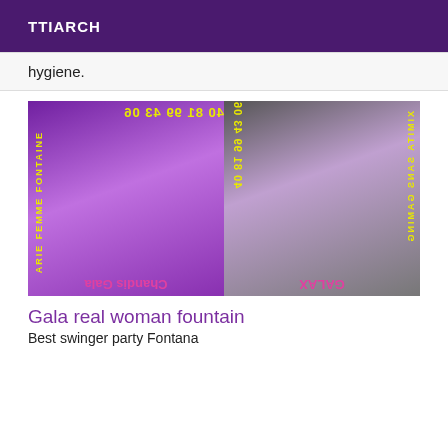TTIARCH
hygiene.
[Figure (photo): Two-panel promotional image with mirrored/flipped text overlays in yellow and pink. Left panel shows a purple-tinted close-up image with mirrored text. Right panel shows a black and white image of a woman with purple-tinted overlay and mirrored text. Text on image reads: '40 81 99 43 06', 'ARIE FEMME FONTAINE', 'Chandis Gala' (mirrored), '40 81 99 43 06', 'XIMITA SANS GAMING' (mirrored), 'GALAX' (mirrored)]
Gala real woman fountain
Best swinger party Fontana